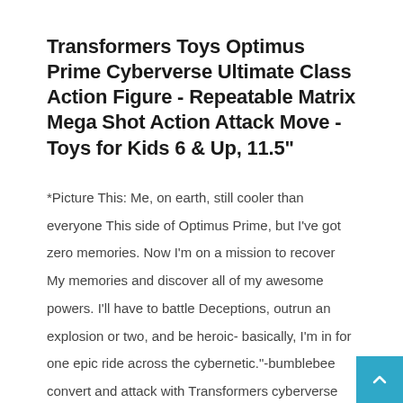Transformers Toys Optimus Prime Cyberverse Ultimate Class Action Figure - Repeatable Matrix Mega Shot Action Attack Move - Toys for Kids 6 & Up, 11.5"
*Picture This: Me, on earth, still cooler than everyone This side of Optimus Prime, but I've got zero memories. Now I'm on a mission to recover My memories and discover all of my awesome powers. I'll have to battle Deceptions, outrun an explosion or two, and be heroic- basically, I'm in for one epic ride across the cybernetic."-bumblebee convert and attack with Transformers cyberverse Optimus Prime action attackers figure! Convert figure between robot and vehicle mode in 11 steps. The last step of conversion activates Optimus Prime figure's Matrix Mega